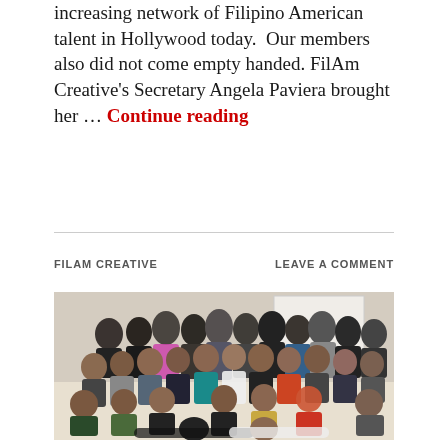increasing network of Filipino American talent in Hollywood today.  Our members also did not come empty handed. FilAm Creative’s Secretary Angela Paviera brought her … Continue reading
FILAM CREATIVE
LEAVE A COMMENT
[Figure (photo): Group photo of approximately 50 Filipino American members of FilAm Creative, posing together in a room. People are standing, sitting, and lying on the floor in multiple rows.]